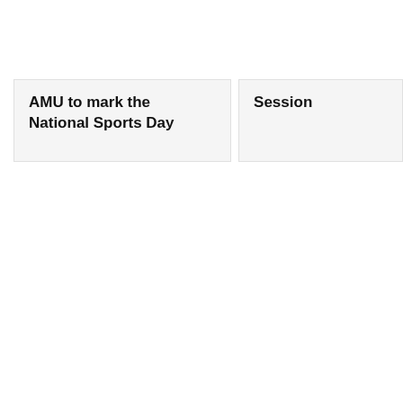AMU to mark the National Sports Day
Session